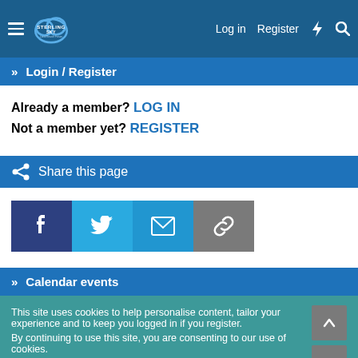Sterling Sky Local Search Forum — Log in | Register
» Login / Register
Already a member? LOG IN
Not a member yet? REGISTER
Share this page
[Figure (infographic): Social share buttons: Facebook, Twitter, Email, Link]
» Calendar events
This site uses cookies to help personalise content, tailor your experience and to keep you logged in if you register.
By continuing to use this site, you are consenting to our use of cookies.